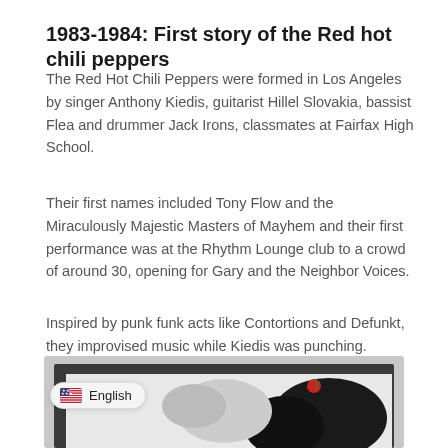1983-1984: First story of the Red hot chili peppers
The Red Hot Chili Peppers were formed in Los Angeles by singer Anthony Kiedis, guitarist Hillel Slovakia, bassist Flea and drummer Jack Irons, classmates at Fairfax High School.
Their first names included Tony Flow and the Miraculously Majestic Masters of Mayhem and their first performance was at the Rhythm Lounge club to a crowd of around 30, opening for Gary and the Neighbor Voices.
Inspired by punk funk acts like Contortions and Defunkt, they improvised music while Kiedis was punching.
[Figure (photo): Partially visible framed photograph inside a gray bordered frame, showing a black and white image, likely a Red Hot Chili Peppers album cover or band photo. A language selector badge showing 'English' with a US flag is overlaid in the bottom-left of the image region.]